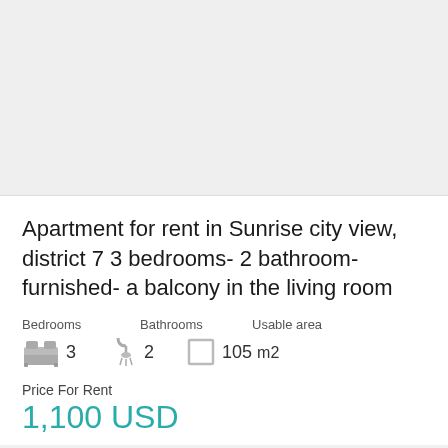[Figure (photo): Apartment listing photo placeholder area (grey background)]
Apartment for rent in Sunrise city view, district 7 3 bedrooms- 2 bathroom- furnished- a balcony in the living room
Bedrooms   Bathrooms   Usable area
3   2   105 m2
Price For Rent
1,100 USD